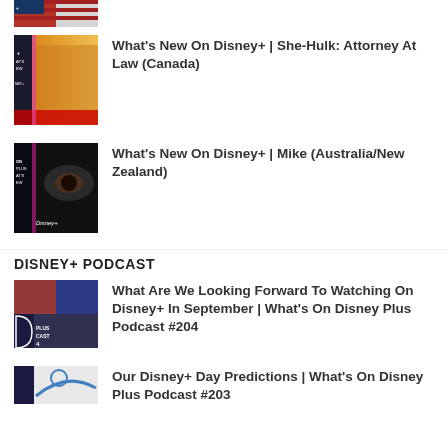[Figure (photo): Thumbnail image partially visible at top of page for a Disney+ article]
What's New On Disney+ | She-Hulk: Attorney At Law (Canada)
What's New On Disney+ | Mike (Australia/New Zealand)
DISNEY+ PODCAST
What Are We Looking Forward To Watching On Disney+ In September | What's On Disney Plus Podcast #204
Our Disney+ Day Predictions | What's On Disney Plus Podcast #203